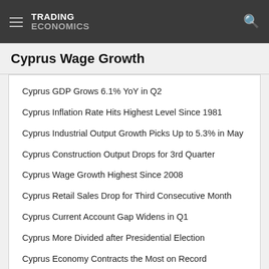TRADING ECONOMICS
Cyprus Wage Growth
Cyprus GDP Grows 6.1% YoY in Q2
Cyprus Inflation Rate Hits Highest Level Since 1981
Cyprus Industrial Output Growth Picks Up to 5.3% in May
Cyprus Construction Output Drops for 3rd Quarter
Cyprus Wage Growth Highest Since 2008
Cyprus Retail Sales Drop for Third Consecutive Month
Cyprus Current Account Gap Widens in Q1
Cyprus More Divided after Presidential Election
Cyprus Economy Contracts the Most on Record
Cyprus Trade Gap Falls in November